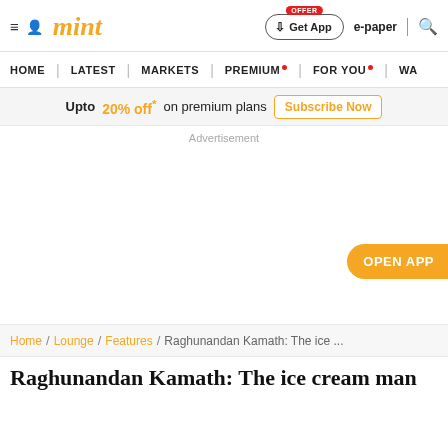mint | Get App | e-paper | search
HOME | LATEST | MARKETS | PREMIUM | FOR YOU | WA...
Upto 20% off* on premium plans  Subscribe Now
Advertisement
OPEN APP
Home / Lounge / Features / Raghunandan Kamath: The ice ...
Raghunandan Kamath: The ice cream man